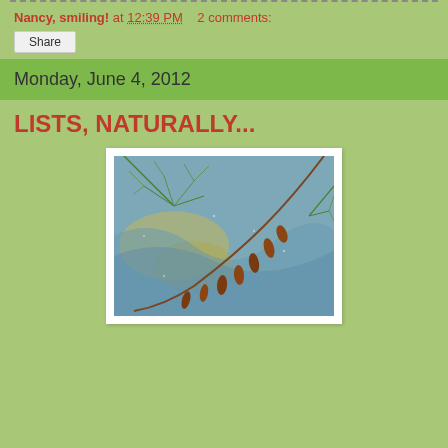Nancy, smiling! at 12:39 PM   2 comments:
Share
Monday, June 4, 2012
LISTS, NATURALLY...
[Figure (photo): Close-up photo of aquatic plant stems with seed pods hanging over water, with green feathery plants visible in the background reflecting in blue-grey water.]